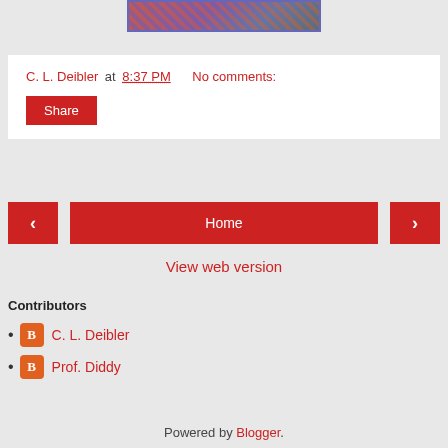[Figure (photo): Partial top edge of a blog post image showing colorful background, partially cropped, with a blue border]
C. L. Deibler at 8:37 PM   No comments:
Share
< Home >
View web version
Contributors
C. L. Deibler
Prof. Diddy
Powered by Blogger.